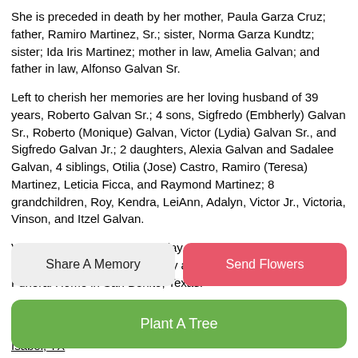She is preceded in death by her mother, Paula Garza Cruz; father, Ramiro Martinez, Sr.; sister, Norma Garza Kundtz; sister; Ida Iris Martinez; mother in law, Amelia Galvan; and father in law, Alfonso Galvan Sr.
Left to cherish her memories are her loving husband of 39 years, Roberto Galvan Sr.; 4 sons, Sigfredo (Embherly) Galvan Sr., Roberto (Monique) Galvan, Victor (Lydia) Galvan Sr., and Sigfredo Galvan Jr.; 2 daughters, Alexia Galvan and Sadalee Galvan, 4 siblings, Otilia (Jose) Castro, Ramiro (Teresa) Martinez, Leticia Ficca, and Raymond Martinez; 8 grandchildren, Roy, Kendra, LeiAnn, Adalyn, Victor Jr., Victoria, Vinson, and Itzel Galvan.
Visitation will be held on Sunday, May 22, 2022 from 5:00 p.m. to 9:00 p.m. with a Holy Rosary at 7:00 p.m. at Thomae-Garza Funeral Home in San Benito, Texas.
A Funeral Service will be held Monday May 23, 2022 at 10:00 a.m. at Lighthouse Assembly of God Church, 110 Port Rd, Port Isabel, TX
Share A Memory
Send Flowers
Plant A Tree